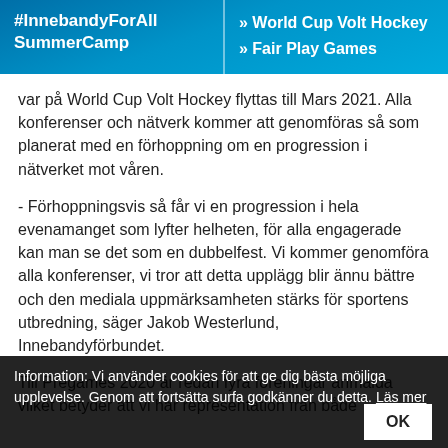#InnebandyForAll SummerCamp | » World Cup Volt Hockey » Fair Play Games
var på World Cup Volt Hockey flyttas till Mars 2021. Alla konferenser och nätverk kommer att genomföras så som planerat med en förhoppning om en progression i nätverket mot våren.
- Förhoppningsvis så får vi en progression i hela evenamanget som lyfter helheten, för alla engagerade kan man se det som en dubbelfest. Vi kommer genomföra alla konferenser, vi tror att detta upplägg blir ännu bättre och den mediala uppmärksamheten stärks för sportens utbredning, säger Jakob Westerlund, Innebandyförbundet.
Till Pregames 2020 är redan fyra föreningar anmälda vilket betyder att vi har representation från både...
Information: Vi använder cookies för att ge dig bästa möjliga upplevelse. Genom att fortsätta surfa godkänner du detta. Läs mer